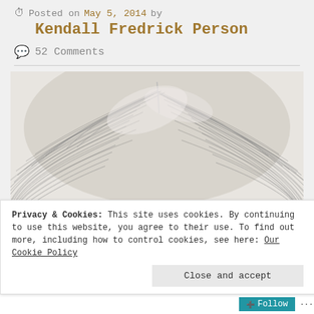Posted on May 5, 2014 by Kendall Fredrick Person
52 Comments
[Figure (illustration): Pencil or charcoal drawing showing the top of a person's head with detailed hair strands, viewed from above/behind]
Privacy & Cookies: This site uses cookies. By continuing to use this website, you agree to their use. To find out more, including how to control cookies, see here: Our Cookie Policy
Close and accept
Follow